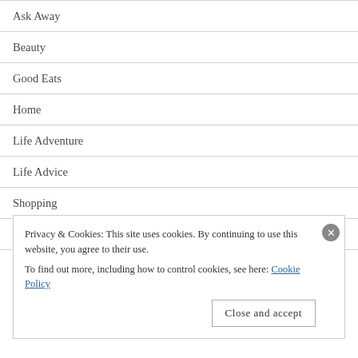Ask Away
Beauty
Good Eats
Home
Life Adventure
Life Advice
Shopping
Thoughts from the Heart
Uncategorized
Privacy & Cookies: This site uses cookies. By continuing to use this website, you agree to their use. To find out more, including how to control cookies, see here: Cookie Policy
Close and accept